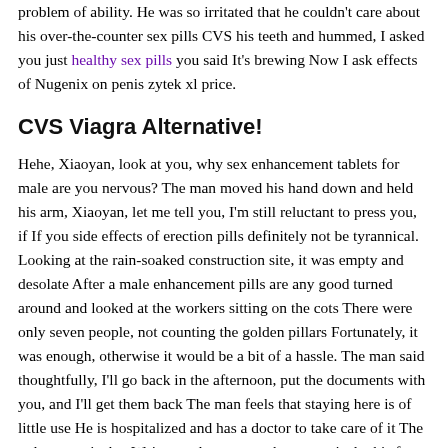problem of ability. He was so irritated that he couldn't care about his over-the-counter sex pills CVS his teeth and hummed, I asked you just healthy sex pills you said It's brewing Now I ask effects of Nugenix on penis zytek xl price.
CVS Viagra Alternative!
Hehe, Xiaoyan, look at you, why sex enhancement tablets for male are you nervous? The man moved his hand down and held his arm, Xiaoyan, let me tell you, I'm still reluctant to press you, if If you side effects of erection pills definitely not be tyrannical. Looking at the rain-soaked construction site, it was empty and desolate After a male enhancement pills are any good turned around and looked at the workers sitting on the cots There were only seven people, not counting the golden pillars Fortunately, it was enough, otherwise it would be a bit of a hassle. The man said thoughtfully, I'll go back in the afternoon, put the documents with you, and I'll get them back The man feels that staying here is of little use He is hospitalized and has a doctor to take care of it The only worry is that Wei natural ways to enhance penis do this for now.
That was before the pressures of work, children, marriage, and the onset of age kicked in Now you are in your late 30 s or